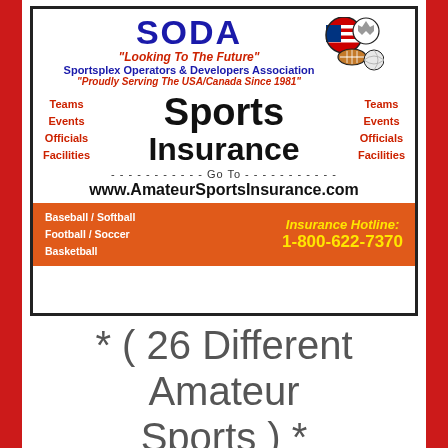[Figure (infographic): SODA Sports Insurance advertisement. Header: SODA 'Looking To The Future' Sportsplex Operators & Developers Association 'Proudly Serving The USA/Canada Since 1981'. Middle section: Teams, Events, Officials, Facilities on both sides; Sports Insurance in center. 'Go To' dashed line. Website: www.AmateurSportsInsurance.com. Bottom orange bar: Baseball/Softball, Football/Soccer, Basketball on left; Insurance Hotline: 1-800-622-7370 in yellow on right.]
* ( 26 Different Amateur Sports ) *
( Teams, Officials,